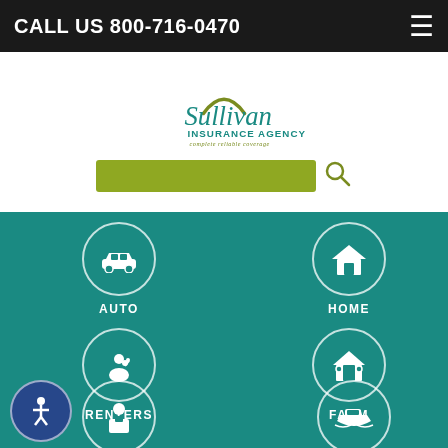CALL US 800-716-0470
[Figure (logo): Sullivan Insurance Agency logo with arch and tagline 'complete reliable coverage']
[Figure (screenshot): Green search bar input with search icon]
[Figure (infographic): Teal navigation grid with six insurance category icons: AUTO, HOME, RENTERS, FARM, BUSINESS, RECREATIONAL, plus accessibility icon]
AUTO
HOME
RENTERS
FARM
BUSINESS
RECREATIONAL